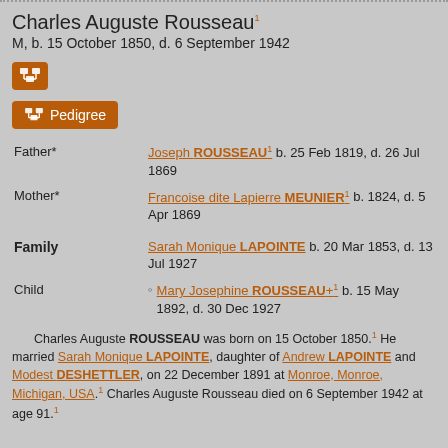Charles Auguste Rousseau¹
M, b. 15 October 1850, d. 6 September 1942
[Figure (other): Small orange icon button with family-tree/pedigree symbol]
[Figure (other): Orange Pedigree button with family-tree icon and label 'Pedigree']
| Father* | Joseph ROUSSEAU¹ b. 25 Feb 1819, d. 26 Jul 1869 |
| Mother* | Francoise dite Lapierre MEUNIER¹ b. 1824, d. 5 Apr 1869 |
| Family | Sarah Monique LAPOINTE b. 20 Mar 1853, d. 13 Jul 1927 |
| Child | Mary Josephine ROUSSEAU+¹ b. 15 May 1892, d. 30 Dec 1927 |
Charles Auguste ROUSSEAU was born on 15 October 1850.¹ He married Sarah Monique LAPOINTE, daughter of Andrew LAPOINTE and Modest DESHETTLER, on 22 December 1891 at Monroe, Monroe, Michigan, USA.¹ Charles Auguste Rousseau died on 6 September 1942 at age 91.¹